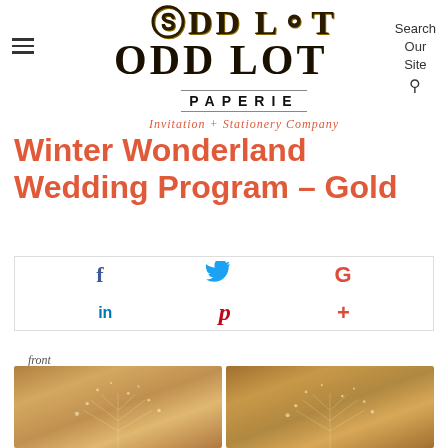ODD LOT PAPERIE — Invitation + Stationery Company
Winter Wonderland Wedding Program – Gold
[Figure (infographic): Social media sharing icons: Facebook (f), Twitter bird, Google G, LinkedIn (in), Pinterest (p), Google+ (+)]
front
[Figure (photo): Two side-by-side product images showing winter wonderland wedding program with warm golden bokeh background and white snowflake/tree designs]